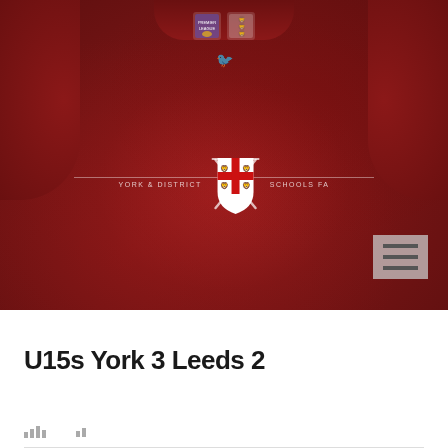[Figure (photo): Photo of a dark red/maroon football jersey (York & District Schools FA) laid flat. The jersey shows a crest in the center chest area with 'YORK & DISTRICT' on the left and 'SCHOOLS FA' on the right. Two small badges (Premier League and England FA) are visible at the top neckline. A small Twitter bird icon is below the badges. A hamburger menu icon is visible in the upper right of the image.]
U15s York 3 Leeds 2